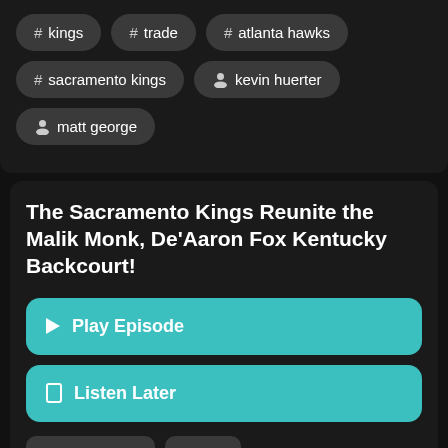# kings
# trade
# atlanta hawks
# sacramento kings
kevin huerter
matt george
The Sacramento Kings Reunite the Malik Monk, De'Aaron Fox Kentucky Backcourt!
Play Episode
Listen Later
Jun 30, 2022
30:28
Matt George reacts to the Sacramento Kings signing Malik Monk to en...